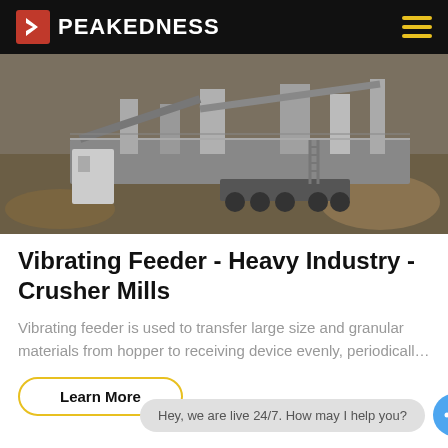PEAKEDNESS
[Figure (photo): Aerial/overhead view of a large mobile crushing and screening plant with machinery, conveyors, and trucks on a dirt site.]
Vibrating Feeder - Heavy Industry - Crusher Mills
Vibrating feeder is used to transfer large size and granular materials from hopper to receiving device evenly, periodicall…
Learn More
Hey, we are live 24/7. How may I help you?